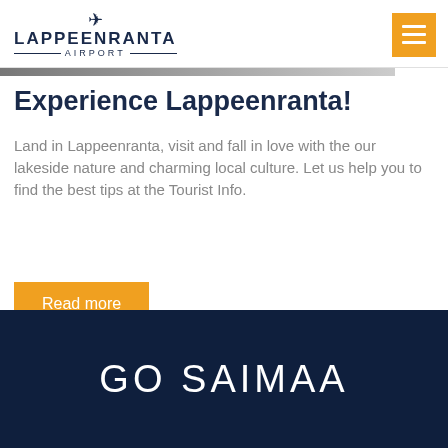LAPPEENRANTA AIRPORT
Experience Lappeenranta!
Land in Lappeenranta, visit and fall in love with the our lakeside nature and charming local culture. Let us help you to find the best tips at the Tourist Info.
Read more
GO SAIMAA